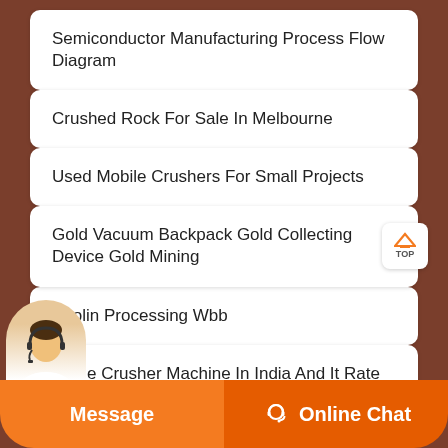Semiconductor Manufacturing Process Flow Diagram
Crushed Rock For Sale In Melbourne
Used Mobile Crushers For Small Projects
Gold Vacuum Backpack Gold Collecting Device Gold Mining
Kaolin Processing Wbb
Stone Crusher Machine In India And It Rate
Message   Online Chat